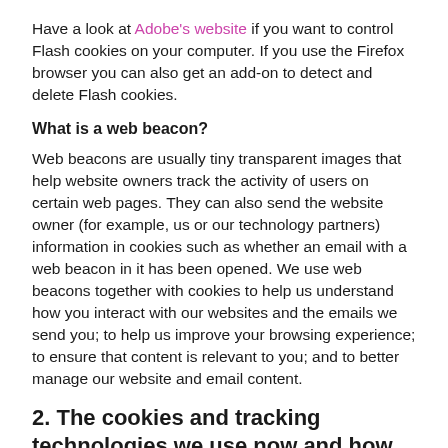Have a look at Adobe's website if you want to control Flash cookies on your computer. If you use the Firefox browser you can also get an add-on to detect and delete Flash cookies.
What is a web beacon?
Web beacons are usually tiny transparent images that help website owners track the activity of users on certain web pages. They can also send the website owner (for example, us or our technology partners) information in cookies such as whether an email with a web beacon in it has been opened. We use web beacons together with cookies to help us understand how you interact with our websites and the emails we send you; to help us improve your browsing experience; to ensure that content is relevant to you; and to better manage our website and email content.
2. The cookies and tracking technologies we use now and how to delete them
When you use our website, you will receive...